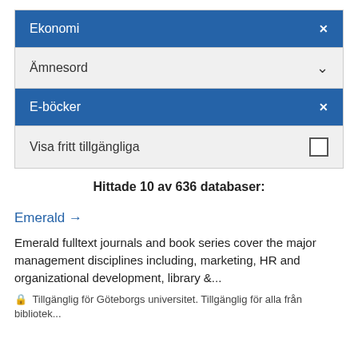Ekonomi ×
Ämnesord ▾
E-böcker ×
Visa fritt tillgängliga □
Hittade 10 av 636 databaser:
Emerald →
Emerald fulltext journals and book series cover the major management disciplines including, marketing, HR and organizational development, library &...
🔒 Tillgänglig för Göteborgs universitet. Tillgänglig för alla från bibliotek...